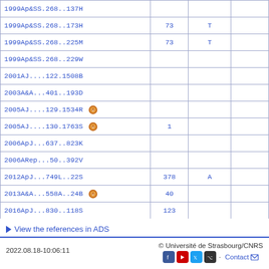| Reference |  |  |  |
| --- | --- | --- | --- |
| 1999Ap&SS.268..137H |  |  |  |
| 1999Ap&SS.268..173H | 73 | T |  |
| 1999Ap&SS.268..225M | 73 | T |  |
| 1999Ap&SS.268..229W |  |  |  |
| 2001AJ....122.1508B |  |  |  |
| 2003A&A...401..193D |  |  |  |
| 2005AJ....129.1534R [vizier] |  |  |  |
| 2005AJ....130.1763S [vizier] | 1 |  |  |
| 2006ApJ...637..823K |  |  |  |
| 2006ARep...50..392V |  |  |  |
| 2012ApJ...749L..22S | 378 | A |  |
| 2013A&A...558A..24B [vizier] | 40 |  |  |
| 2016ApJ...830..118S | 123 |  |  |
| 2019MNRAS.489.2142H | 87 |  |  |
View the references in ADS
2022.08.18-10:06:11 © Université de Strasbourg/CNRS Contact